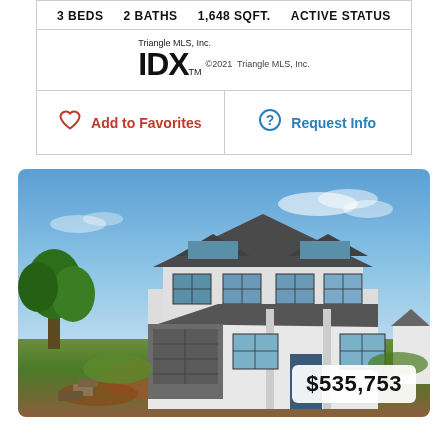3 BEDS   2 BATHS   1,648 SQFT.   ACTIVE STATUS
[Figure (logo): Triangle MLS, Inc. IDX logo with TM mark and copyright 2021 Triangle MLS, Inc.]
Add to Favorites
Request Info
[Figure (photo): Under-construction two-story house on bare land with blue sky background]
$535,753